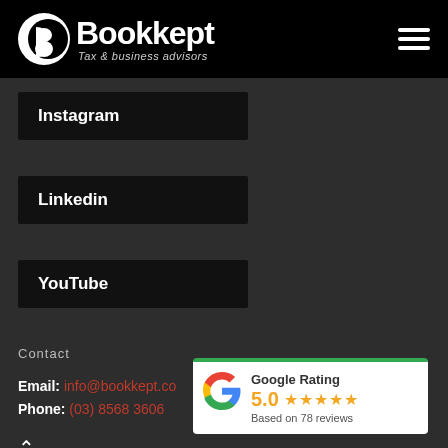Bookkept Tax & business advisors
Instagram
Linkedin
YouTube
Contact
Email: info@bookkept.co
Phone: (03) 8568 3606
[Figure (infographic): Google Rating overlay card with 5.0 stars rating, based on 78 reviews, with Google G logo and green top border]
^